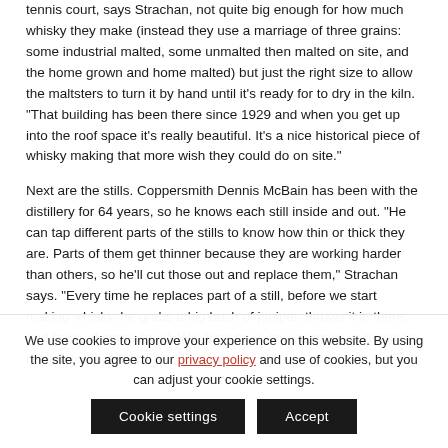tennis court, says Strachan, not quite big enough for how much whisky they make (instead they use a marriage of three grains: some industrial malted, some unmalted then malted on site, and the home grown and home malted) but just the right size to allow the maltsters to turn it by hand until it's ready for to dry in the kiln. "That building has been there since 1929 and when you get up into the roof space it's really beautiful. It's a nice historical piece of whisky making that more wish they could do on site."
Next are the stills. Coppersmith Dennis McBain has been with the distillery for 64 years, so he knows each still inside and out. "He can tap different parts of the stills to know how thin or thick they are. Parts of them get thinner because they are working harder than others, so he'll cut those out and replace them," Strachan says. "Every time he replaces part of a still, before we start making whisky, he grabs a big bush of juniper, throws it in there, and boils off some liquid. We don't have any scientific or technical reason for that, but it was the way
We use cookies to improve your experience on this website. By using the site, you agree to our privacy policy and use of cookies, but you can adjust your cookie settings.